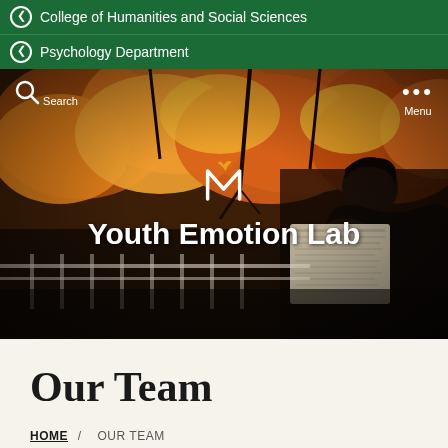College of Humanities and Social Sciences
Psychology Department
[Figure (photo): Hero image of a young woman reading a newspaper or large document outdoors, sitting against a railing with autumn foliage (orange, red, yellow leaves) in the background. Overlaid with the text 'Youth Emotion Lab' and a stylized M logo. Search icon and Menu controls visible at top corners.]
Our Team
HOME / OUR TEAM